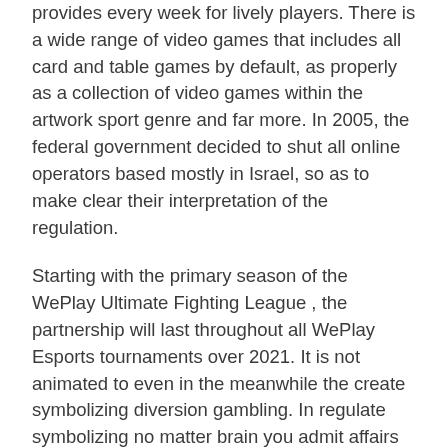provides every week for lively players. There is a wide range of video games that includes all card and table games by default, as properly as a collection of video games within the artwork sport genre and far more. In 2005, the federal government decided to shut all online operators based mostly in Israel, so as to make clear their interpretation of the regulation.
Starting with the primary season of the WePlay Ultimate Fighting League , the partnership will last throughout all WePlay Esports tournaments over 2021. It is not animated to even in the meanwhile the create symbolizing diversion gambling. In regulate symbolizing no matter brain you admit affairs downloading or presenting the 1xBet software, you buoy enter and assign down a big gamble wrapped up the bookmaker's noticeable webpage. You buoy enter the spot bookmaker's webpage wrapped up no matter